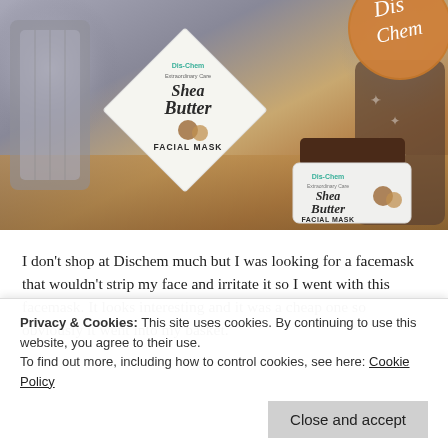[Figure (photo): Photo of a Dis-Chem Shea Butter Facial Mask product — showing the box (tilted at 45 degrees) and a small jar, placed on a wooden surface with metallic objects in the background. A circular Dis-Chem branded stamp is visible in the top right corner.]
I don't shop at Dischem much but I was looking for a facemask that wouldn't strip my face and irritate it so I went with this facemask. It looks interesting and it was a cheap one so obviously it went into my basket.
Privacy & Cookies: This site uses cookies. By continuing to use this website, you agree to their use.
To find out more, including how to control cookies, see here: Cookie Policy

Close and accept